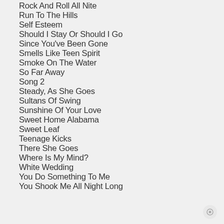Rock And Roll All Nite
Run To The Hills
Self Esteem
Should I Stay Or Should I Go
Since You've Been Gone
Smells Like Teen Spirit
Smoke On The Water
So Far Away
Song 2
Steady, As She Goes
Sultans Of Swing
Sunshine Of Your Love
Sweet Home Alabama
Sweet Leaf
Teenage Kicks
There She Goes
Where Is My Mind?
White Wedding
You Do Something To Me
You Shook Me All Night Long